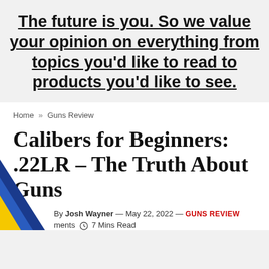The future is you. So we value your opinion on everything from topics you'd like to read to products you'd like to see.
Home » Guns Review
Calibers for Beginners: .22LR – The Truth About Guns
By Josh Wayner — May 22, 2022 — GUNS REVIEW
Comments  ⊙ 7 Mins Read